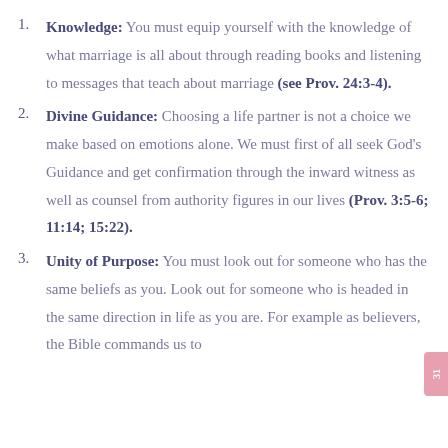Knowledge: You must equip yourself with the knowledge of what marriage is all about through reading books and listening to messages that teach about marriage (see Prov. 24:3-4).
Divine Guidance: Choosing a life partner is not a choice we make based on emotions alone. We must first of all seek God's Guidance and get confirmation through the inward witness as well as counsel from authority figures in our lives (Prov. 3:5-6; 11:14; 15:22).
Unity of Purpose: You must look out for someone who has the same beliefs as you. Look out for someone who is headed in the same direction in life as you are. For example as believers, the Bible commands us to